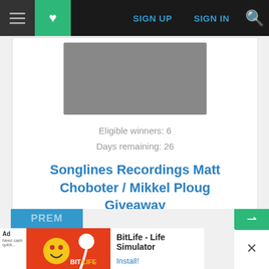[Figure (screenshot): Website navigation bar with hamburger menu, green heart icon, SIGN UP and SIGN IN links in blue, and orange search icon on black background]
[Figure (photo): Gray placeholder image for album/giveaway]
Eligible winners: 6
Days remaining: 26
Songlines Recordings Matt Choboter / Mikkel Ploug Giveaway
SIGN IN TO ENTER
sponsored by Songlines Recordings
[Figure (screenshot): Bottom area with PREM button, BitLife ad banner and close button]